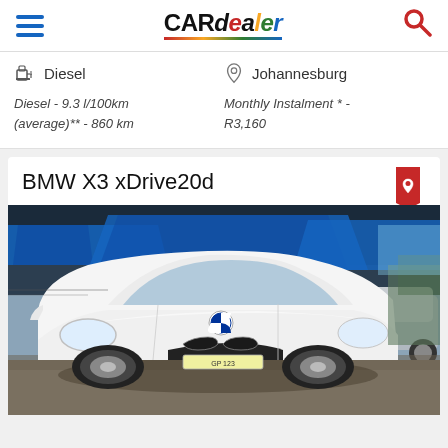CARdealer
Diesel   Johannesburg
Diesel - 9.3 l/100km (average)** - 860 km    Monthly Instalment * - R3,160
BMW X3 xDrive20d
[Figure (photo): Photograph of a white BMW X3 SUV parked at a car dealership with blue shade structures in the background]